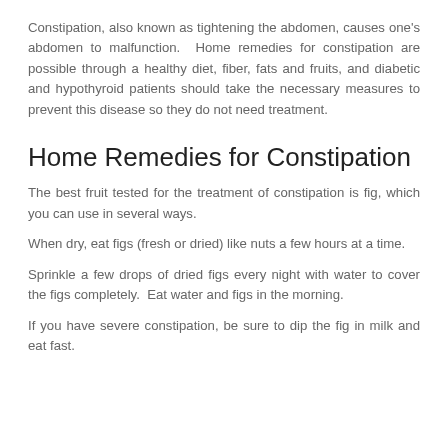Constipation, also known as tightening the abdomen, causes one's abdomen to malfunction. Home remedies for constipation are possible through a healthy diet, fiber, fats and fruits, and diabetic and hypothyroid patients should take the necessary measures to prevent this disease so they do not need treatment.
Home Remedies for Constipation
The best fruit tested for the treatment of constipation is fig, which you can use in several ways.
When dry, eat figs (fresh or dried) like nuts a few hours at a time.
Sprinkle a few drops of dried figs every night with water to cover the figs completely. Eat water and figs in the morning.
If you have severe constipation, be sure to dip the fig in milk and eat fast.